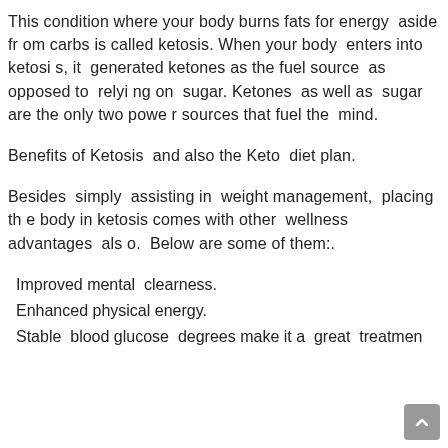This condition where your body burns fats for energy  aside from carbs is called ketosis. When your body  enters into ketosis, it  generated ketones as the fuel source  as opposed to  relying on  sugar. Ketones  as well as  sugar are the only two power sources that fuel the  mind.
Benefits of Ketosis  and also the Keto  diet plan.
Besides  simply  assisting in  weight management,  placing the body in ketosis comes with other  wellness  advantages  also.  Below are some of them:.
Improved mental  clearness.
Enhanced physical energy.
Stable  blood glucose  degrees make it a  great  treatment